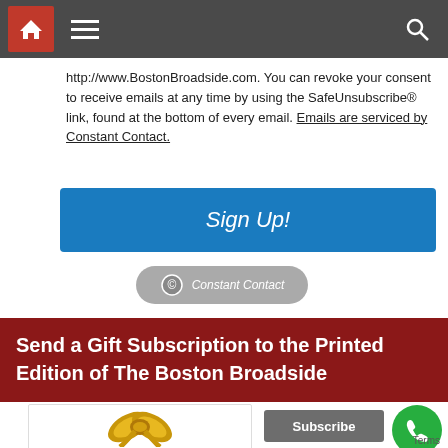Navigation bar with home, menu, and search icons
http://www.BostonBroadside.com. You can revoke your consent to receive emails at any time by using the SafeUnsubscribe® link, found at the bottom of every email. Emails are serviced by Constant Contact.
[Figure (other): Blue Sign Up! button]
[Figure (logo): Constant Contact badge/logo button]
Send a Gift Subscription to the Printed Edition of The Boston Broadside
[Figure (photo): Gold ribbon bow gift image]
[Figure (other): Subscribe button and green phone call button]